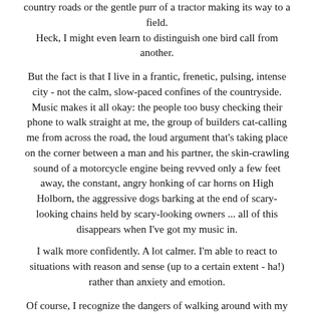country roads or the gentle purr of a tractor making its way to a field. Heck, I might even learn to distinguish one bird call from another.
But the fact is that I live in a frantic, frenetic, pulsing, intense city - not the calm, slow-paced confines of the countryside. Music makes it all okay: the people too busy checking their phone to walk straight at me, the group of builders cat-calling me from across the road, the loud argument that's taking place on the corner between a man and his partner, the skin-crawling sound of a motorcycle engine being revved only a few feet away, the constant, angry honking of car horns on High Holborn, the aggressive dogs barking at the end of scary-looking chains held by scary-looking owners ... all of this disappears when I've got my music in.
I walk more confidently. A lot calmer. I'm able to react to situations with reason and sense (up to a certain extent - ha!) rather than anxiety and emotion.
Of course, I recognize the dangers of walking around with my headphones in. I try not to listen to my music at too high of a volume (though the point is sort of to drown out my surroundings) and I won't cross the street without waiting for the little green man to appear and looking both ways.
But I simply wouldn't know how to cope without my premium Spotify